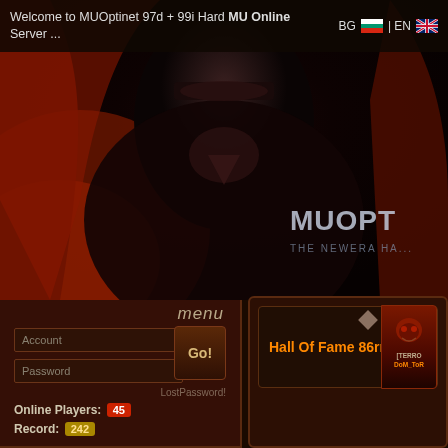Welcome to MUOptinet 97d + 99i Hard MU Online Server ... BG | EN
[Figure (screenshot): Dark fantasy warrior villain character for MU Online game, with red and dark armor, dramatic lighting, MUOPT logo visible on right side]
menu
Account
Password
Go!
LostPassword!
Online Players: 45
Record: 242
Hall Of Fame 86rr
[TERRO DoM_ToR